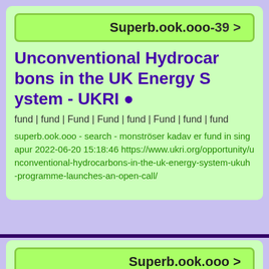Superb.ook.ooo-39 >
Unconventional Hydrocarbons in the UK Energy System - UKRI ●
fund | fund | Fund | Fund | fund | Fund | fund | fund
superb.ook.ooo - search - monströser kadaver fund in singapur 2022-06-20 15:18:46 https://www.ukri.org/opportunity/unconventional-hydrocarbons-in-the-uk-energy-system-ukuh-programme-launches-an-open-call/
Superb.ook.ooo >
[Figure (photo): Partial view of a wristwatch face and crown]